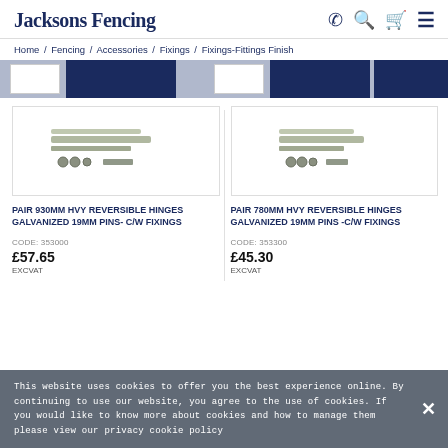Jacksons Fencing
Home / Fencing / Accessories / Fixings / Fixings-Fittings Finish
[Figure (screenshot): Filter bar with white checkbox blocks and dark blue rectangular blocks, partially cropped product thumbnails]
[Figure (photo): Pair 930mm Heavy Reversible Hinges Galvanized 19mm Pins with fixings - product image showing metal hinges and bolts]
PAIR 930MM HVY REVERSIBLE HINGES GALVANIZED 19MM PINS- C/W FIXINGS
CODE: 353000
£57.65
EXCVAT
[Figure (photo): Pair 780mm Heavy Reversible Hinges Galvanized 19mm Pins with fixings - product image showing metal hinges and bolts]
PAIR 780MM HVY REVERSIBLE HINGES GALVANIZED 19MM PINS -C/W FIXINGS
CODE: 353300
£45.30
EXCVAT
This website uses cookies to offer you the best experience online. By continuing to use our website, you agree to the use of cookies. If you would like to know more about cookies and how to manage them please view our privacy cookie policy